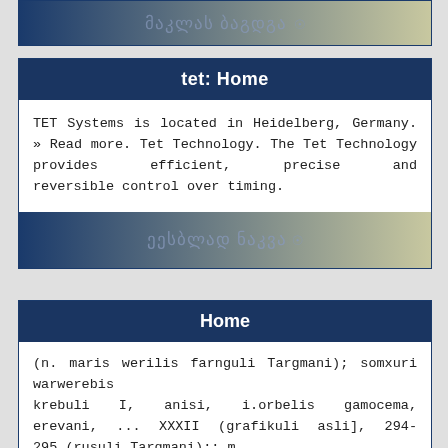[Figure (screenshot): Partial top card with dark blue to tan gradient header containing Georgian script text and an eye icon]
tet: Home
TET Systems is located in Heidelberg, Germany. » Read more. Tet Technology. The Tet Technology provides efficient, precise and reversible control over timing.
[Figure (screenshot): Card footer with dark blue to tan gradient containing Georgian script text and an eye icon]
Home
(n. maris werilis farnguli Targmani); somxuri warwerebis krebuli I, anisi, i.orbelis gamocema, erevani, ... XXXII (grafikuli asli], 294-295 (rusuli Targmani);; m.